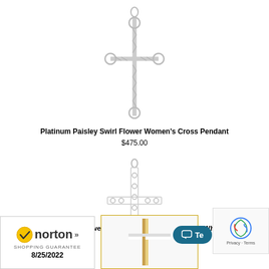[Figure (photo): Platinum Paisley Swirl Flower Women's Cross Pendant jewelry product photo on white background]
Platinum Paisley Swirl Flower Women's Cross Pendant
$475.00
[Figure (photo): Small Women's Flower Etched Cross Pendant In 14K White Gold jewelry product photo on white background]
Small Women's Flower Etched Cross Pendant In 14K White Gold
$149.00
[Figure (logo): Norton Shopping Guarantee badge with checkmark, dated 8/25/2022]
[Figure (photo): Thumbnail of a gold cross pendant product]
[Figure (screenshot): Chat/Te button in teal color and reCAPTCHA Privacy Terms widget]